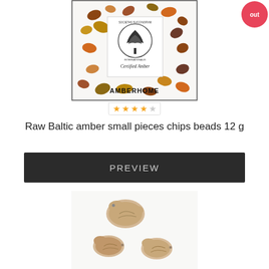[Figure (photo): Photo of raw Baltic amber small pieces chips from AMBERHOME brand with Certified Amber seal logo. Amber chips are brownish-orange scattered pieces on white background with a circular tree logo stamp reading Societas Succinorum Internationalis - Certified Amber, and AMBERHOME text at bottom.]
[Figure (other): Star rating showing 4 out of 5 stars (4 filled gold stars, 1 empty/grey star) in a white bordered box]
[Figure (other): Red circular badge in top-right corner with white text reading 'out']
Raw Baltic amber small pieces chips beads 12 g
PREVIEW
[Figure (photo): Photo of three raw Baltic amber beads shaped like small animals (possibly birds or turtles), pale cream/beige colored with textured surface, displayed on white background.]